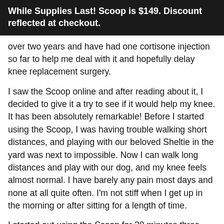While Supplies Last! Scoop is $149. Discount reflected at checkout.
over two years and have had one cortisone injection so far to help me deal with it and hopefully delay knee replacement surgery.
I saw the Scoop online and after reading about it, I decided to give it a try to see if it would help my knee. It has been absolutely remarkable! Before I started using the Scoop, I was having trouble walking short distances, and playing with our beloved Sheltie in the yard was next to impossible. Now I can walk long distances and play with our dog, and my knee feels almost normal. I have barely any pain most days and none at all quite often. I'm not stiff when I get up in the morning or after sitting for a length of time.
I started out using the Scoop for 30 minutes three times a week. Now I use it 45 minutes almost every day. It has